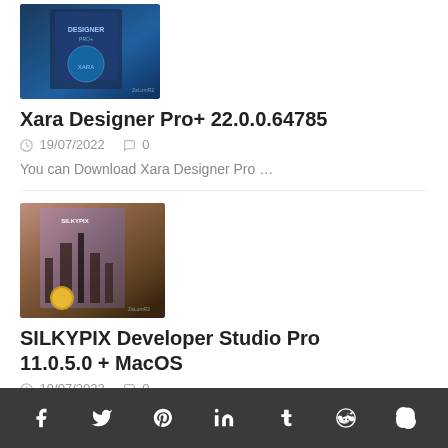[Figure (photo): Xara Designer Pro+ software box product image with blue gradient design]
Xara Designer Pro+ 22.0.0.64785
19/07/2022   0
You can Download Xara Designer Pro …
[Figure (photo): SILKYPIX Developer Studio Pro software box product image with city skyline and golden ball]
SILKYPIX Developer Studio Pro 11.0.5.0 + MacOS
19/07/2022   0
You can Download SILKYPIX Developer Studio …
f  twitter  pinterest  in  t  reddit  skype